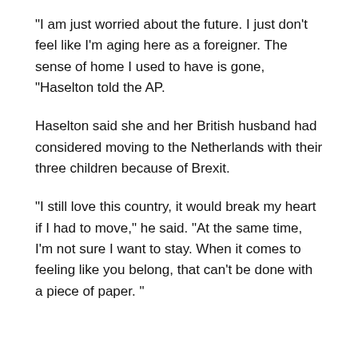“I am just worried about the future. I just don’t feel like I’m aging here as a foreigner. The sense of home I used to have is gone, “Haselton told the AP.
Haselton said she and her British husband had considered moving to the Netherlands with their three children because of Brexit.
“I still love this country, it would break my heart if I had to move,” he said. “At the same time, I’m not sure I want to stay. When it comes to feeling like you belong, that can’t be done with a piece of paper. ”